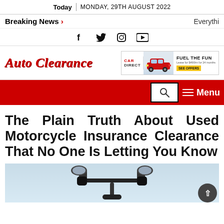Today | MONDAY, 29TH AUGUST 2022
Breaking News > Everythi
[Figure (infographic): Social media icons: Facebook, Twitter, Instagram, YouTube]
[Figure (logo): Auto Clearance site logo in red italic serif font]
[Figure (infographic): Car Direct advertisement banner with red Mini car, FUEL THE FUN text, and yellow SEE OFFERS button]
[Figure (infographic): Red navigation bar with search box and Menu hamburger button]
The Plain Truth About Used Motorcycle Insurance Clearance That No One Is Letting You Know
[Figure (photo): Motorcycle handlebars and mirrors against a light blue sky background]